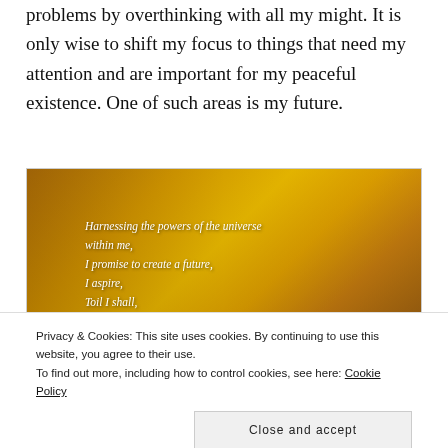problems by overthinking with all my might. It is only wise to shift my focus to things that need my attention and are important for my peaceful existence. One of such areas is my future.
[Figure (illustration): A golden sky image with poem text overlaid in white italic: 'Harnessing the powers of the universe within me, I promise to create a future, I aspire, Toil I shall, Till tomorrow is what I imagine it to be...']
Privacy & Cookies: This site uses cookies. By continuing to use this website, you agree to their use.
To find out more, including how to control cookies, see here: Cookie Policy
Close and accept